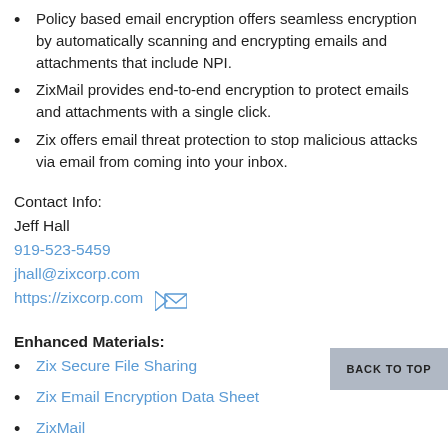Policy based email encryption offers seamless encryption by automatically scanning and encrypting emails and attachments that include NPI.
ZixMail provides end-to-end encryption to protect emails and attachments with a single click.
Zix offers email threat protection to stop malicious attacks via email from coming into your inbox.
Contact Info:
Jeff Hall
919-523-5459
jhall@zixcorp.com
https://zixcorp.com
Enhanced Materials:
Zix Secure File Sharing
Zix Email Encryption Data Sheet
ZixMail